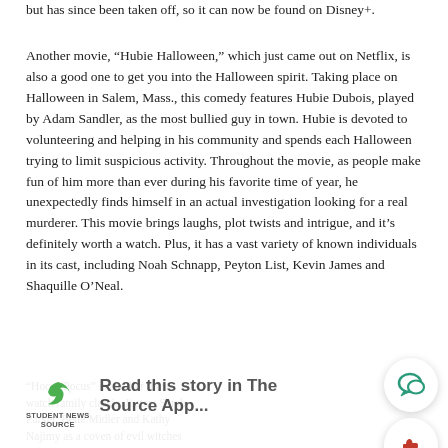but has since been taken off, so it can now be found on Disney+.
Another movie, “Hubie Halloween,” which just came out on Netflix, is also a good one to get you into the Halloween spirit. Taking place on Halloween in Salem, Mass., this comedy features Hubie Dubois, played by Adam Sandler, as the most bullied guy in town. Hubie is devoted to volunteering and helping in his community and spends each Halloween trying to limit suspicious activity. Throughout the movie, as people make fun of him more than ever during his favorite time of year, he unexpectedly finds himself in an actual investigation looking for a real murderer. This movie brings laughs, plot twists and intrigue, and it’s definitely worth a watch. Plus, it has a vast variety of known individuals in its cast, including Noah Schnapp, Peyton List, Kevin James and Shaquille O’Neal.
“Hocus Pocus” is another must-watch family classic. It stars Sarah Parker, Bette Midler and Kathy Najimy as a coven of evil witches w
[Figure (other): Read this story in The Source App... banner overlay with logo]